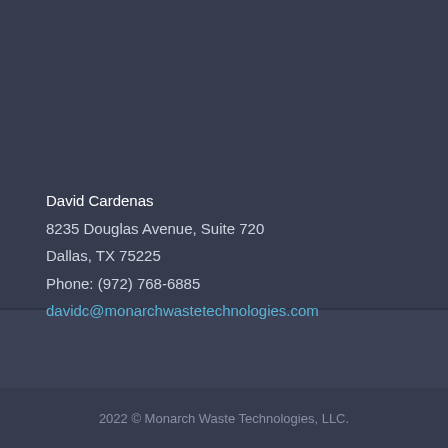David Cardenas
8235 Douglas Avenue, Suite 720
Dallas, TX 75225
Phone: (972) 768-6885
davidc@monarchwastetechnologies.com
2022 © Monarch Waste Technologies, LLC.